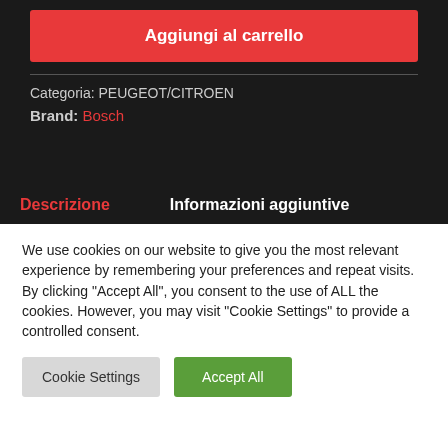Aggiungi al carrello
Categoria: PEUGEOT/CITROEN
Brand: Bosch
Descrizione    Informazioni aggiuntive
We use cookies on our website to give you the most relevant experience by remembering your preferences and repeat visits. By clicking “Accept All”, you consent to the use of ALL the cookies. However, you may visit "Cookie Settings" to provide a controlled consent.
Cookie Settings
Accept All